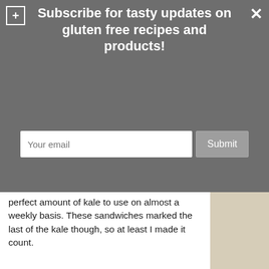Subscribe for tasty updates on gluten free recipes and products!
perfect amount of kale to use on almost a weekly basis. These sandwiches marked the last of the kale though, so at least I made it count.
[Figure (photo): A grilled cheese sandwich with kale filling, cut in half and served on a white plate with a wicker placemat background.]